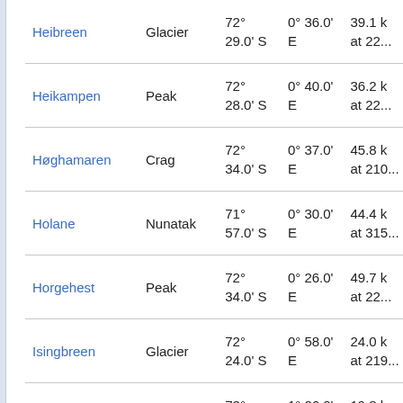| Name | Type | Latitude | Longitude | Extra |
| --- | --- | --- | --- | --- |
| Heibreen | Glacier | 72° 29.0' S | 0° 36.0' E | 39.1 k
at 22... |
| Heikampen | Peak | 72° 28.0' S | 0° 40.0' E | 36.2 k
at 22... |
| Høghamaren | Crag | 72° 34.0' S | 0° 37.0' E | 45.8 k
at 210... |
| Holane | Nunatak | 71° 57.0' S | 0° 30.0' E | 44.4 k
at 315... |
| Horgehest | Peak | 72° 34.0' S | 0° 26.0' E | 49.7 k
at 22... |
| Isingbreen | Glacier | 72° 24.0' S | 0° 58.0' E | 24.0 k
at 219... |
| Isingen | Mountain | 72° 23.0' S | 1° 06.0' E | 19.8 k
at 213... |
| Isingsalen | Saddle | 72° 20.0' S | 1° 00.0' E | 18.0 k
at 230... |